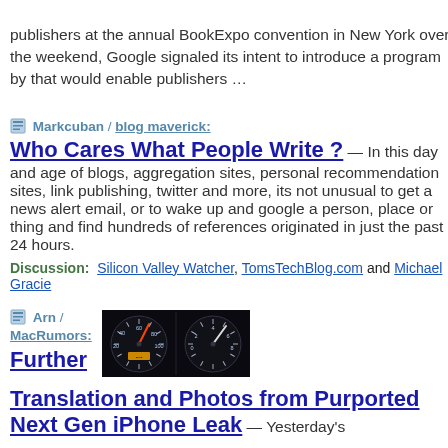publishers at the annual BookExpo convention in New York over the weekend, Google signaled its intent to introduce a program by that would enable publishers …
Markcuban / blog maverick: Who Cares What People Write ? — In this day and age of blogs, aggregation sites, personal recommendation sites, link publishing, twitter and more, its not unusual to get a news alert email, or to wake up and google a person, place or thing and find hundreds of references originated in just the past 24 hours. Discussion: Silicon Valley Watcher, TomsTechBlog.com and Michael Gracie
Arn / MacRumors: Further
[Figure (photo): Car dashboard speedometer and instrument cluster glowing in the dark, showing two gauges with illuminated dials and orange/red needles.]
Translation and Photos from Purported Next Gen iPhone Leak — Yesterday's